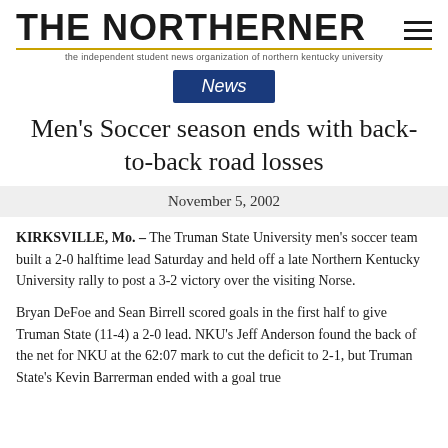THE NORTHERNER — the independent student news organization of northern kentucky university
News
Men's Soccer season ends with back-to-back road losses
November 5, 2002
KIRKSVILLE, Mo. – The Truman State University men's soccer team built a 2-0 halftime lead Saturday and held off a late Northern Kentucky University rally to post a 3-2 victory over the visiting Norse.
Bryan DeFoe and Sean Birrell scored goals in the first half to give Truman State (11-4) a 2-0 lead. NKU's Jeff Anderson found the back of the net for NKU at the 62:07 mark to cut the deficit to 2-1, but Truman State's Kevin Barrerman ended with a goal true